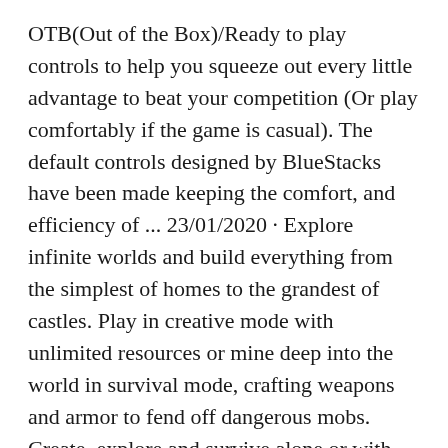OTB(Out of the Box)/Ready to play controls to help you squeeze out every little advantage to beat your competition (Or play comfortably if the game is casual). The default controls designed by BlueStacks have been made keeping the comfort, and efficiency of ... 23/01/2020 · Explore infinite worlds and build everything from the simplest of homes to the grandest of castles. Play in creative mode with unlimited resources or mine deep into the world in survival mode, crafting weapons and armor to fend off dangerous mobs. Create, explore and survive alone or with friends on mobile devices or Windows 10.
Best Minecraft texture packs or resource packs, what you can call them. The download it here